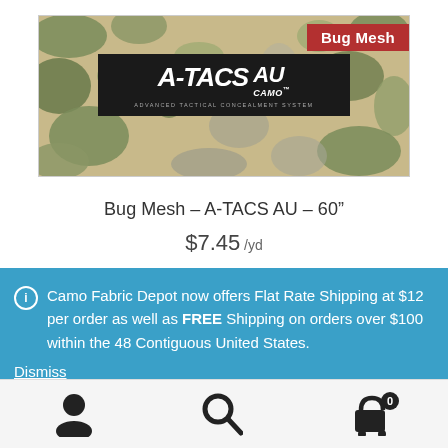[Figure (photo): Product image showing A-TACS AU camo pattern fabric with 'Bug Mesh' badge in red top right and A-TACS AU CAMO logo on black bar centered.]
Bug Mesh – A-TACS AU – 60"
$7.45 /yd
ℹ Camo Fabric Depot now offers Flat Rate Shipping at $12 per order as well as FREE Shipping on orders over $100 within the 48 Contiguous United States.
Dismiss
User icon | Search icon | Cart icon (0)